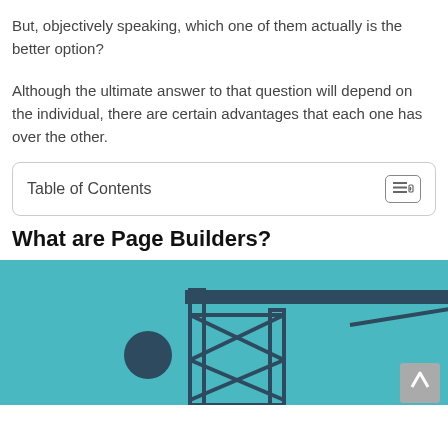But, objectively speaking, which one of them actually is the better option?
Although the ultimate answer to that question will depend on the individual, there are certain advantages that each one has over the other.
Table of Contents
What are Page Builders?
[Figure (illustration): Teal/blue background illustration showing a construction crane or tower structure in dark blue/navy outline style, with a circular element on the left side.]